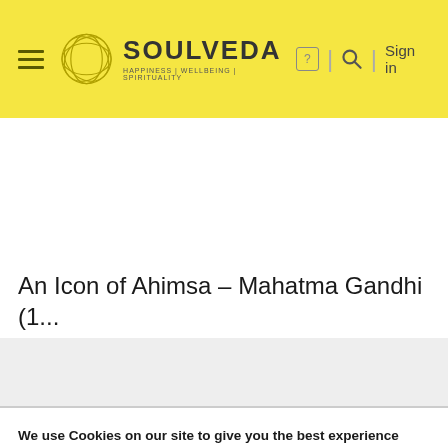[Figure (logo): Soulveda logo with hamburger menu icon, circular geometric logo graphic, SOULVEDA text, and tagline HAPPINESS | WELLBEING | SPIRITUALITY on yellow background, with search and sign in icons on the right]
An Icon of Ahimsa – Mahatma Gandhi (1...
We use Cookies on our site to give you the best experience possible. By continuing to browse the site, you agree to this use. For more information on how we use cookies, see our Privacy Policy
Find out more about which cookies we are using or switch them off in settings.